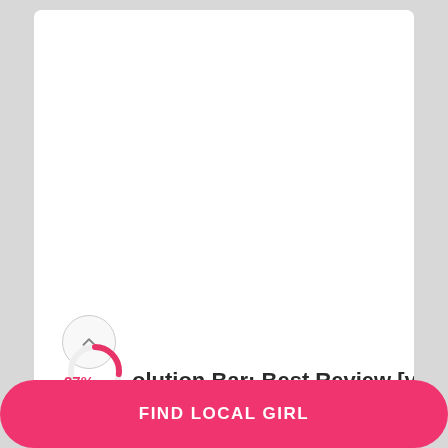[Figure (donut-chart): Partial pink arc donut chart showing 27% with up-arrow circle button overlay]
olution Bar: Best Review [year]
Created in the 1998, the Revolution bar
FIND LOCAL GIRL